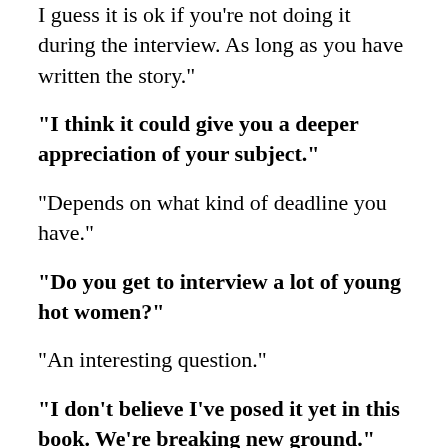I guess it is ok if you're not doing it during the interview. As long as you have written the story."
"I think it could give you a deeper appreciation of your subject."
"Depends on what kind of deadline you have."
"Do you get to interview a lot of young hot women?"
"An interesting question."
"I don't believe I've posed it yet in this book. We're breaking new ground."
"That section of the Jewish community, 20-40, is one of the least connected."
More reason why you should date and connect it.
"The answer would probably be no. I